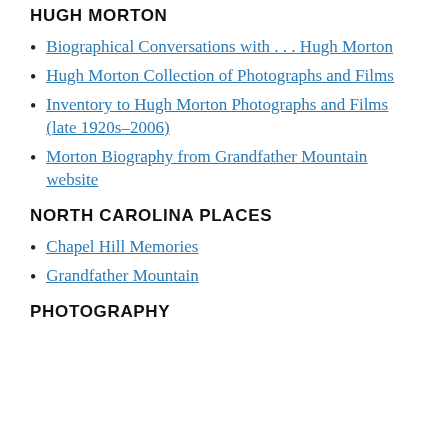HUGH MORTON
Biographical Conversations with . . . Hugh Morton
Hugh Morton Collection of Photographs and Films
Inventory to Hugh Morton Photographs and Films (late 1920s–2006)
Morton Biography from Grandfather Mountain website
NORTH CAROLINA PLACES
Chapel Hill Memories
Grandfather Mountain
PHOTOGRAPHY